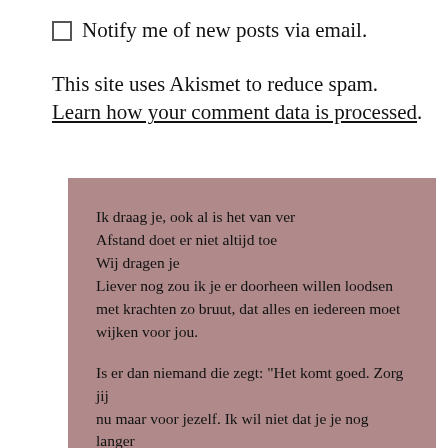Notify me of new posts via email.
This site uses Akismet to reduce spam. Learn how your comment data is processed.
Ik draag je, ook al is het van ver
Afstand doet er niet altijd toe
Wij dragen je
Liever nog zou ik je er doorheen willen loodsen met krachten zo bruut, dat alles en iedereen moet wijken voor jou.

Is er dan niemand die zegt: "Het komt goed. Zorg jij nu maar voor jezelf. Ik wil niet dat je je nog langer zorgen maakt om mij.  Ik red me wel.
Sterker nog, ik red me alleen als jij alle pijlen op jezelf richt. Gezondheid, heling en rust. Die drie."
Laat me je dragen
En het gewicht van je schouders doen verlichten
Soms is het gewoon te zwaar